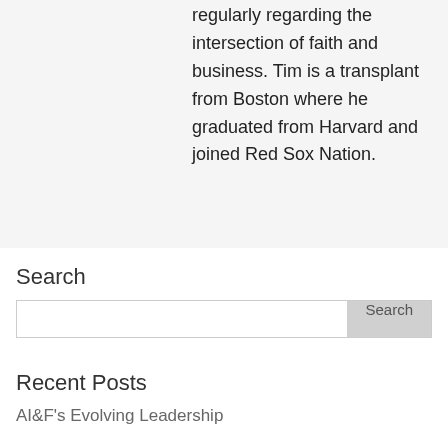regularly regarding the intersection of faith and business. Tim is a transplant from Boston where he graduated from Harvard and joined Red Sox Nation.
Search
Search
Recent Posts
AI&F's Evolving Leadership